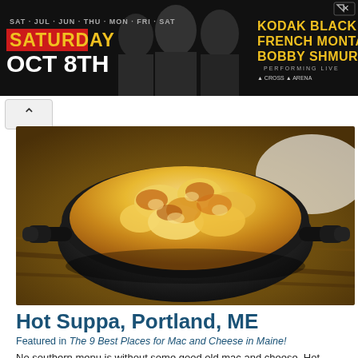[Figure (photo): Advertisement banner with dark background showing concert promotion: SATURDAY OCT 8TH, with artist names KODAK BLACK, FRENCH MONTANA, BOBBY SHMURDA performing live, with silhouettes of performers]
[Figure (photo): Food photograph of mac and cheese in a cast iron skillet, showing golden-brown baked macaroni and cheese with browned top, sitting on a wooden table]
Hot Suppa, Portland, ME
Featured in The 9 Best Places for Mac and Cheese in Maine!
No southern menu is without some good old mac and cheese. Hot Suppa is a southern-style restaurant in Portland serving up some delicious and creative comfort food. Their pulled pork mac & cheese… Read